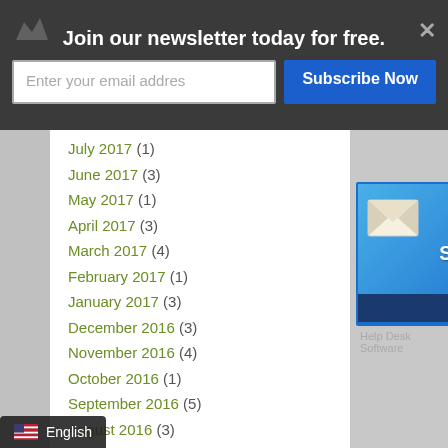Join our newsletter today for free.
Enter your email addres
Subscribe Now
July 2017 (1)
June 2017 (3)
May 2017 (1)
April 2017 (3)
March 2017 (4)
February 2017 (1)
January 2017 (3)
December 2016 (3)
November 2016 (4)
October 2016 (1)
September 2016 (5)
August 2016 (3)
July 2016 (1)
June 2016 (7)
May 2016 (1)
April 2016 (1)
March 2016 (2)
[Figure (screenshot): Live Support widget showing envelope icon with LIVE SUPPORT text and Offline status bar]
Help Desk Software
English